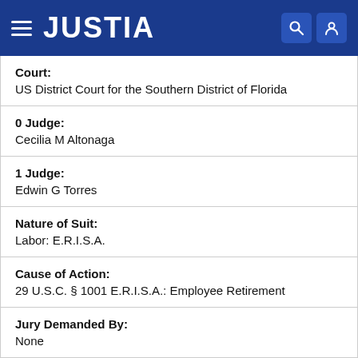JUSTIA
| Court: | US District Court for the Southern District of Florida |
| 0 Judge: | Cecilia M Altonaga |
| 1 Judge: | Edwin G Torres |
| Nature of Suit: | Labor: E.R.I.S.A. |
| Cause of Action: | 29 U.S.C. § 1001 E.R.I.S.A.: Employee Retirement |
| Jury Demanded By: | None |